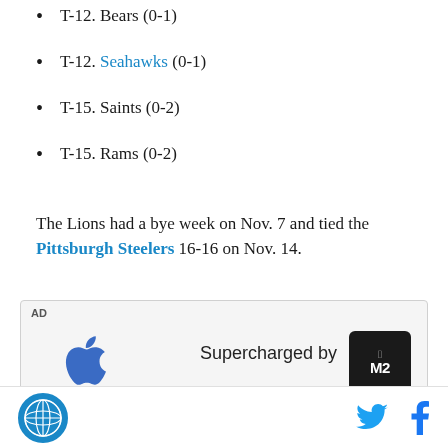T-12. Bears (0-1)
T-12. Seahawks (0-1)
T-15. Saints (0-2)
T-15. Rams (0-2)
The Lions had a bye week on Nov. 7 and tied the Pittsburgh Steelers 16-16 on Nov. 14.
[Figure (other): Apple advertisement banner showing Apple logo and text 'Supercharged by' with M2 chip logo, followed by diagonal stripe decoration]
AP News globe logo, Twitter bird icon, Facebook f icon